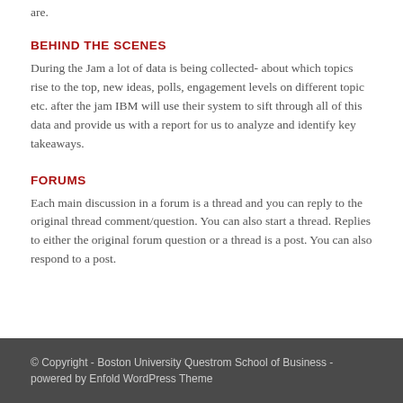are.
BEHIND THE SCENES
During the Jam a lot of data is being collected- about which topics rise to the top, new ideas, polls, engagement levels on different topic etc. after the jam IBM will use their system to sift through all of this data and provide us with a report for us to analyze and identify key takeaways.
FORUMS
Each main discussion in a forum is a thread and you can reply to the original thread comment/question. You can also start a thread. Replies to either the original forum question or a thread is a post. You can also respond to a post.
© Copyright - Boston University Questrom School of Business - powered by Enfold WordPress Theme